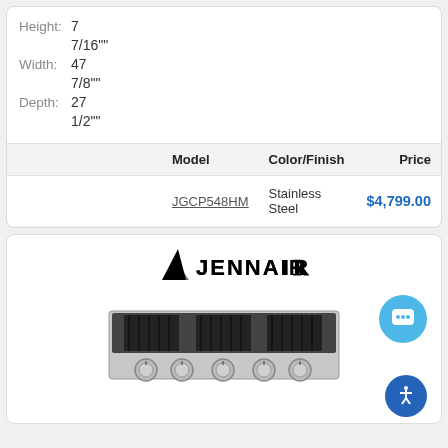Height: 7
7/16""
Width: 47
7/8""
Depth: 27
1/2""
|  | Model | Color/Finish | Price |
| --- | --- | --- | --- |
|  | JGCP548HM | Stainless Steel | $4,799.00 |
[Figure (logo): Jenn-Air brand logo with stylized triangle icon]
[Figure (photo): Jenn-Air stainless steel gas rangetop cooktop appliance with burner grates and control knobs]